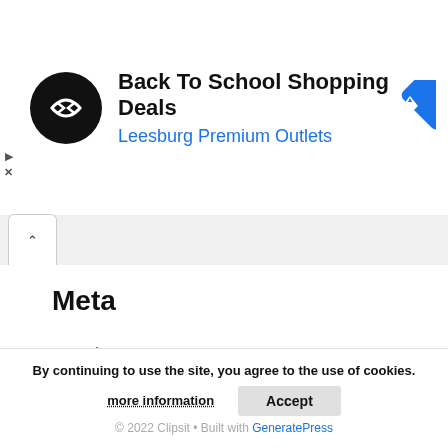[Figure (screenshot): Advertisement banner for Back To School Shopping Deals at Leesburg Premium Outlets, featuring a black circular logo with a white chain/link icon and a blue diamond map direction icon on the right.]
Back To School Shopping Deals
Leesburg Premium Outlets
Meta
Log in
Entries feed
Comments feed
WordPress.org
By continuing to use the site, you agree to the use of cookies.
more information
Accept
© 2022 Clipsit • Built with GeneratePress